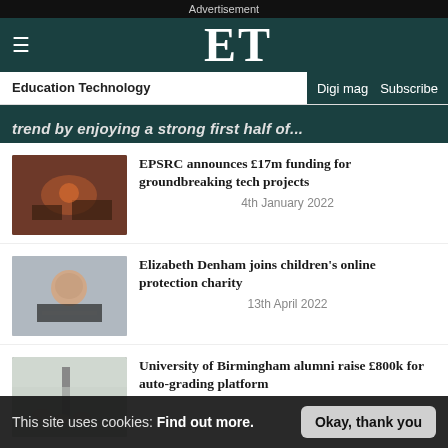Advertisement
ET
Education Technology | Digi mag | Subscribe
trend by enjoying a strong first half of...
[Figure (photo): Dark interior scene with warm orange/red lighting, appearing to show equipment or tools]
EPSRC announces £17m funding for groundbreaking tech projects
4th January 2022
[Figure (photo): Young child looking at camera, appearing to be on a video call on a laptop]
Elizabeth Denham joins children’s online protection charity
13th April 2022
[Figure (photo): Group of people outdoors with a tall structure or building in background]
University of Birmingham alumni raise £800k for auto-grading platform
This site uses cookies: Find out more.
Okay, thank you